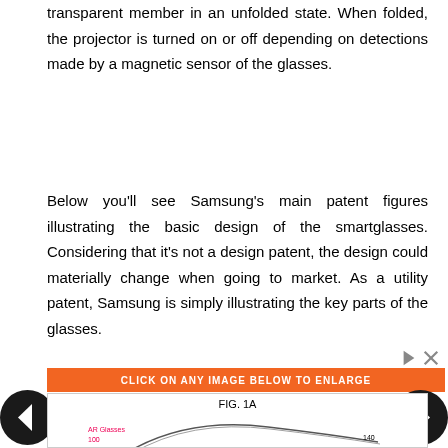transparent member in an unfolded state. When folded, the projector is turned on or off depending on detections made by a magnetic sensor of the glasses.
Below you'll see Samsung's main patent figures illustrating the basic design of the smartglasses. Considering that it's not a design patent, the design could materially change when going to market. As a utility patent, Samsung is simply illustrating the key parts of the glasses.
[Figure (other): Advertisement banner with orange background saying CLICK ON ANY IMAGE BELOW TO ENLARGE, with navigation arrows on left and right, and a patent figure FIG. 1A showing AR Glasses diagram]